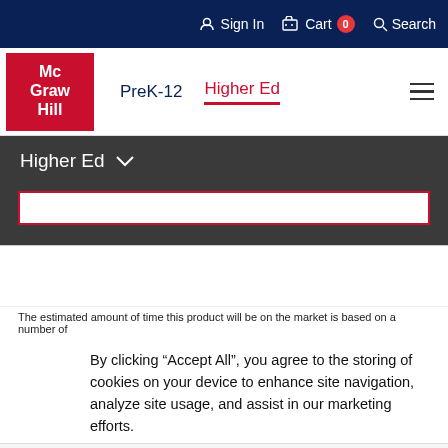Sign In  Cart 0  Search
[Figure (logo): McGraw Hill logo - red box with white text reading Mc Graw Hill]
PreK-12  Higher Ed
Higher Ed
The estimated amount of time this product will be on the market is based on a number of
By clicking “Accept All”, you agree to the storing of cookies on your device to enhance site navigation, analyze site usage, and assist in our marketing efforts.
Accept and Close ×
Your browser settings do not allow cross-site tracking for advertising. Click on this page to allow AdRoll to use cross-site tracking to tailor ads to you. Learn more or opt out of this AdRoll tracking by clicking here. This message only appears once.